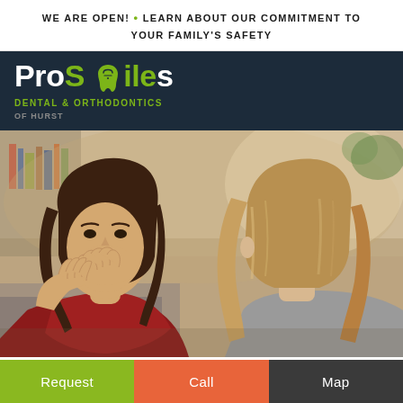WE ARE OPEN! • LEARN ABOUT OUR COMMITMENT TO YOUR FAMILY'S SAFETY
[Figure (logo): ProSmiles Dental & Orthodontics of Hurst logo — white and green text on dark navy background with tooth icon]
[Figure (photo): Two young women sitting together; one facing front covering her mouth laughing, the other facing away with long blonde hair]
Request
Call
Map